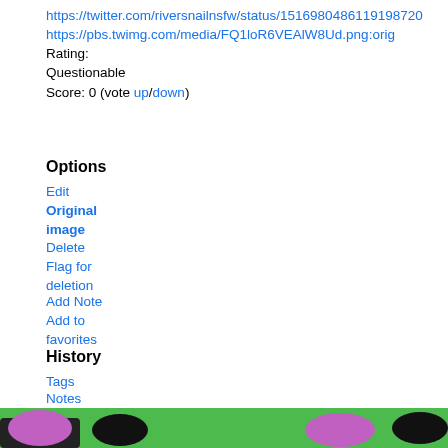https://twitter.com/riversnailnsfw/status/1516980486119198720
https://pbs.twimg.com/media/FQ1loR6VEAlW8Ud.png:orig
Rating:
Questionable
Score: 0 (vote up/down)
Options
Edit
Original image
Delete
Flag for deletion
Add Note
Add to favorites
History
Tags
Notes
Related Posts
Previous
Next
Similar
[Figure (photo): Bottom strip showing partial image with green background and illustrated characters]